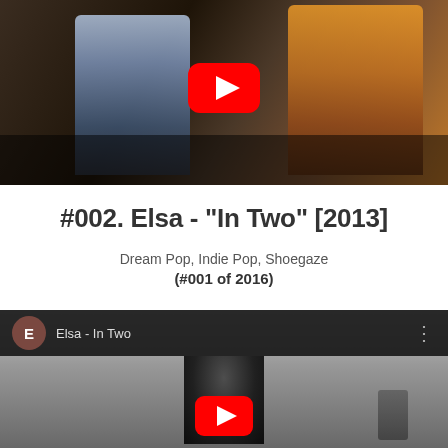[Figure (screenshot): YouTube video thumbnail showing two people, one in a blue/grey shirt and one in an orange shirt, with a red YouTube play button overlay in the center]
#002. Elsa - "In Two" [2013]
Dream Pop, Indie Pop, Shoegaze
(#001 of 2016)
[Figure (screenshot): YouTube video embed for 'Elsa - In Two' showing a dark figure of a person from behind, with a brown circular avatar showing 'E', channel name 'Elsa - In Two', three-dot menu, and a red YouTube play button overlay]